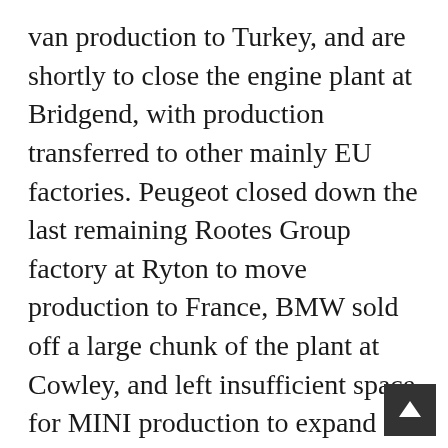van production to Turkey, and are shortly to close the engine plant at Bridgend, with production transferred to other mainly EU factories. Peugeot closed down the last remaining Rootes Group factory at Ryton to move production to France, BMW sold off a large chunk of the plant at Cowley, and left insufficient space for MINI production to expand into, so some models are now being built in Austria and The Netherlands, and Cooper Tire have now transferred production of tyres for passenger cars from